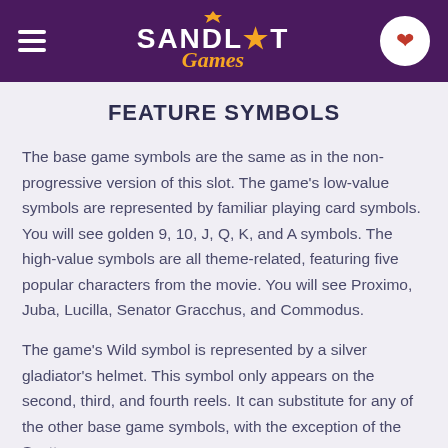Sandlot Games
FEATURE SYMBOLS
The base game symbols are the same as in the non-progressive version of this slot. The game's low-value symbols are represented by familiar playing card symbols. You will see golden 9, 10, J, Q, K, and A symbols. The high-value symbols are all theme-related, featuring five popular characters from the movie. You will see Proximo, Juba, Lucilla, Senator Gracchus, and Commodus.
The game's Wild symbol is represented by a silver gladiator's helmet. This symbol only appears on the second, third, and fourth reels. It can substitute for any of the other base game symbols, with the exception of the Scatter